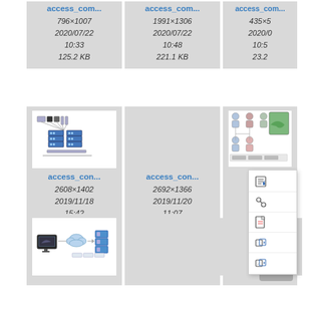[Figure (screenshot): File browser grid showing image file tiles with filenames starting with 'access_com' or 'access_con', each showing dimensions, date, time, and file size. Row 1 (top, partial): three tiles showing metadata only - 796×1007 2020/07/22 10:33 125.2 KB; 1991×1306 2020/07/22 10:48 221.1 KB; 435×? 2020/0? 10:5? 23.2? KB. Row 2 (middle): three tiles - access_con... 2608×1402 2019/11/18 15:42 792 KB with network diagram thumbnail; access_con... 2692×1366 2019/11/20 11:07 310.1 KB empty thumbnail; acce... 22?×? 20? 14:4? 523?KB with person/map thumbnail and context menu showing edit/link/pdf/plugin/plugin icons. Row 3 (bottom, partial): three tiles - one with cloud diagram thumbnail, one empty, one empty with scroll-to-top button.]